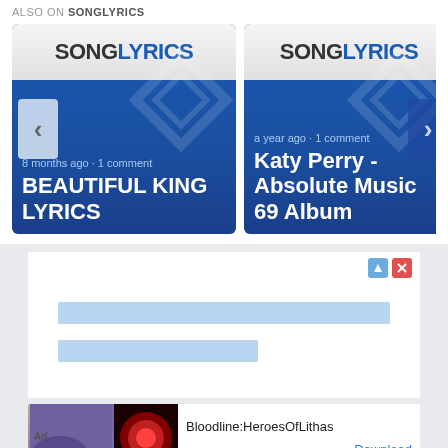ALSO ON SONGLYRICS
[Figure (screenshot): SongLyrics card 1: BEAUTIFUL KING LYRICS, 8 months ago, 1 comment]
[Figure (screenshot): SongLyrics card 2: Katy Perry - Absolute Music 69 Album, a year ago, 1 comment]
[Figure (screenshot): Advertisement placeholder with two light blue bars]
[Figure (screenshot): Bottom ad banner: Bloodline:HeroesOfLithas, Download]